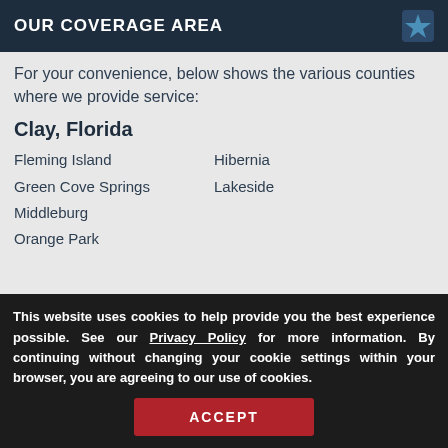OUR COVERAGE AREA
For your convenience, below shows the various counties where we provide service:
Clay, Florida
Fleming Island
Hibernia
Green Cove Springs
Lakeside
Middleburg
Orange Park
This website uses cookies to help provide you the best experience possible. See our Privacy Policy for more information. By continuing without changing your cookie settings within your browser, you are agreeing to our use of cookies.
ACCEPT